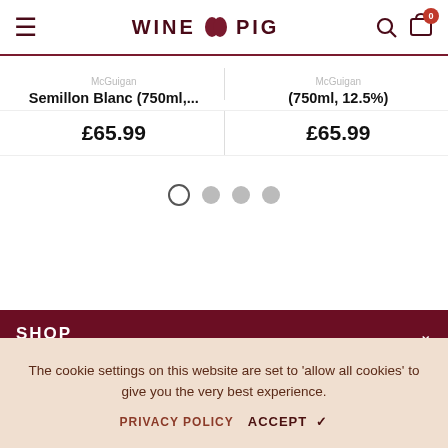WINE PIG
Semillon Blanc (750ml,...
£65.99
(750ml, 12.5%)
£65.99
SHOP
INFORMATION
STAY CONNECTED
The cookie settings on this website are set to 'allow all cookies' to give you the very best experience.
PRIVACY POLICY  ACCEPT ✔